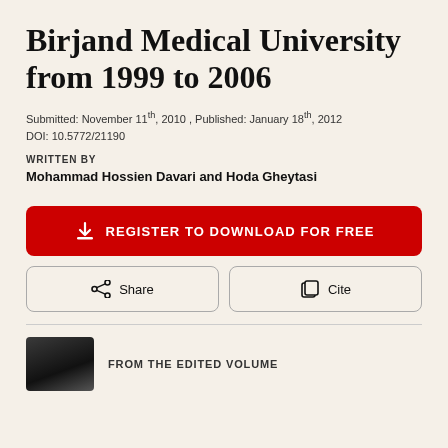Birjand Medical University from 1999 to 2006
Submitted: November 11th, 2010 , Published: January 18th, 2012
DOI: 10.5772/21190
WRITTEN BY
Mohammad Hossien Davari and Hoda Gheytasi
REGISTER TO DOWNLOAD FOR FREE
Share
Cite
FROM THE EDITED VOLUME
[Figure (photo): Small thumbnail image of book/volume cover, dark background]